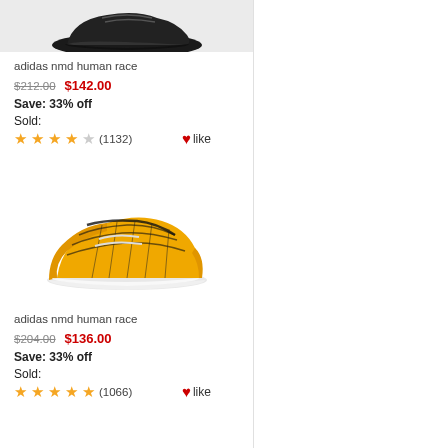[Figure (photo): Black Adidas NMD Human Race sneaker on light gray background, partially visible at top]
adidas nmd human race
$212.00   $142.00
Save: 33% off
Sold:
★★★★☆ (1132)  ❤like
[Figure (photo): Yellow and black Adidas NMD Human Race sneaker on white background]
adidas nmd human race
$204.00   $136.00
Save: 33% off
Sold:
★★★★★ (1066)  ❤like